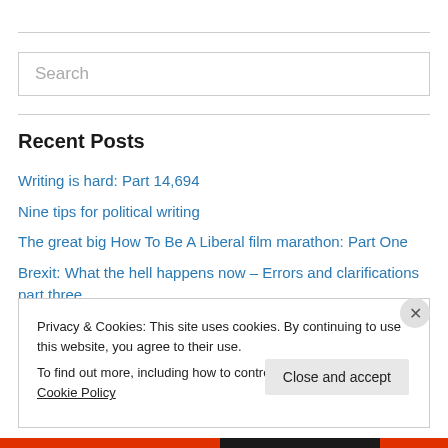[Figure (screenshot): Search input field with placeholder text 'Search']
Recent Posts
Writing is hard: Part 14,694
Nine tips for political writing
The great big How To Be A Liberal film marathon: Part One
Brexit: What the hell happens now – Errors and clarifications part three
My role in the great Brexit conspiracy
Privacy & Cookies: This site uses cookies. By continuing to use this website, you agree to their use.
To find out more, including how to control cookies, see here: Cookie Policy
Close and accept